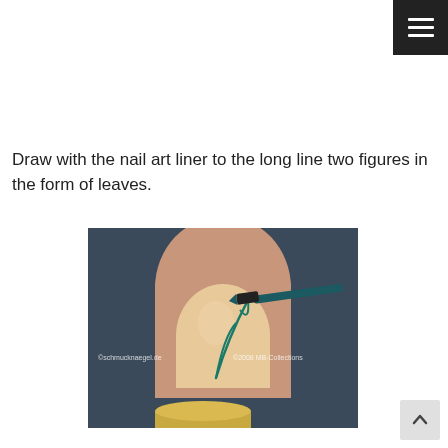[Figure (other): Hamburger/menu icon button in dark background, top-right corner]
Draw with the nail art liner to the long line two figures in the form of leaves.
[Figure (photo): Close-up photo of a finger/nail with a teal nail art liner tool drawing leaf-shaped figures on the nail. Watermark: ©schmucknaegel.de ©2008 MB-Collections]
[Figure (other): Back-to-top arrow button, bottom-right corner]